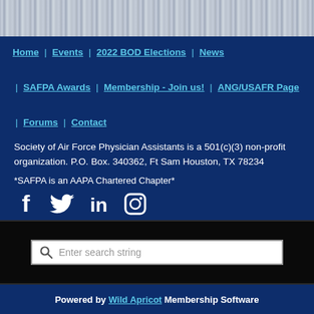[Figure (photo): Grayscale textured banner image at top of page]
Home | Events | 2022 BOD Elections | News | SAFPA Awards | Membership - Join us! | ANG/USAFR Page | Forums | Contact
Society of Air Force Physician Assistants is a 501(c)(3) non-profit organization. P.O. Box. 340362, Ft Sam Houston, TX 78234
*SAFPA is an AAPA Chartered Chapter*
[Figure (infographic): Social media icons: Facebook, Twitter, LinkedIn, Instagram]
[Figure (screenshot): Black search bar area with search input field showing placeholder text 'Enter search string']
Powered by Wild Apricot Membership Software